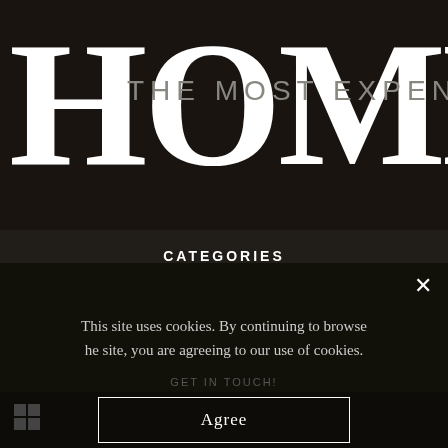THE MOST EXPENSIVE HOMES
CATEGORIES
MOST EXPENSIVE HOMES
LUXURY FURNITURE DESIGN
LUXURY LIFESTYLE
CELEBRITY HOMES
ABOUT
POLICY PRIVACY
SITE MAP
GET IN TOUCH!
This site uses cookies. By continuing to browse the site, you are agreeing to our use of cookies.
Agree